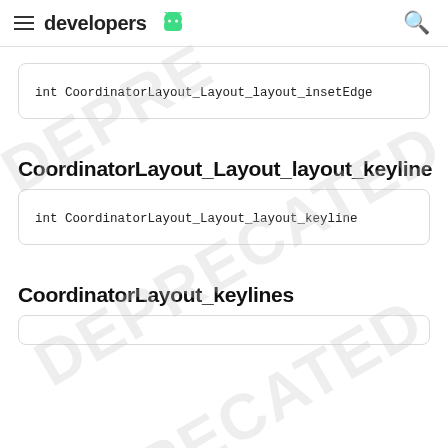developers
int CoordinatorLayout_Layout_layout_insetEdge
CoordinatorLayout_Layout_layout_keyline
int CoordinatorLayout_Layout_layout_keyline
CoordinatorLayout_keylines